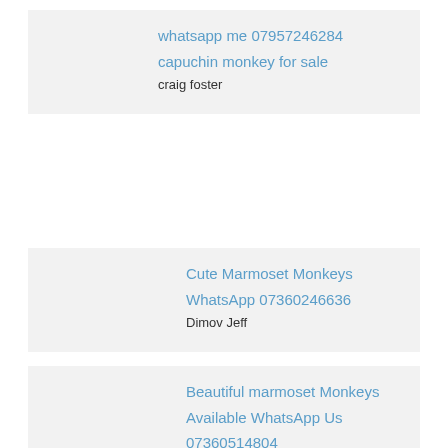whatsapp me 07957246284
capuchin monkey for sale
craig foster
Cute Marmoset Monkeys
WhatsApp 07360246636
Dimov Jeff
Beautiful marmoset Monkeys
Available WhatsApp Us
07360514804
Dimov Jeff